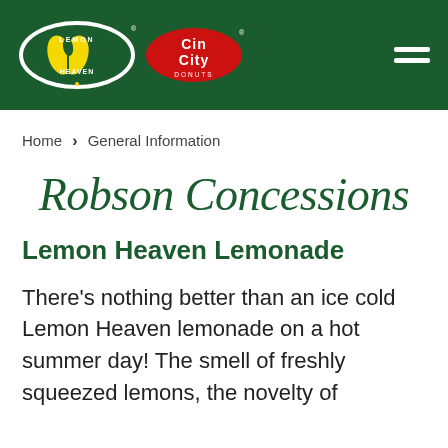[Figure (logo): Green header bar with Lemon Heaven and Cin City Donuts logos on the left, and a hamburger menu icon on the right]
Home > General Information
Robson Concessions
Lemon Heaven Lemonade
There’s nothing better than an ice cold Lemon Heaven lemonade on a hot summer day! The smell of freshly squeezed lemons, the novelty of